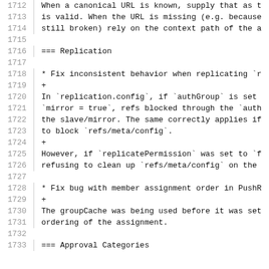1712   When a canonical URL is known, supply that as t
1713   is valid. When the URL is missing (e.g. because
1714   still broken) rely on the context path of the a
1715
1716   === Replication
1717
1718   * Fix inconsistent behavior when replicating `r
1719   +
1720   In `replication.config`, if `authGroup` is set
1721   `mirror = true`, refs blocked through the `auth
1722   the slave/mirror. The same correctly applies if
1723   to block `refs/meta/config`.
1724   +
1725   However, if `replicatePermission` was set to `f
1726   refusing to clean up `refs/meta/config` on the
1727
1728   * Fix bug with member assignment order in PushR
1729   +
1730   The groupCache was being used before it was set
1731   ordering of the assignment.
1732
1733   === Approval Categories